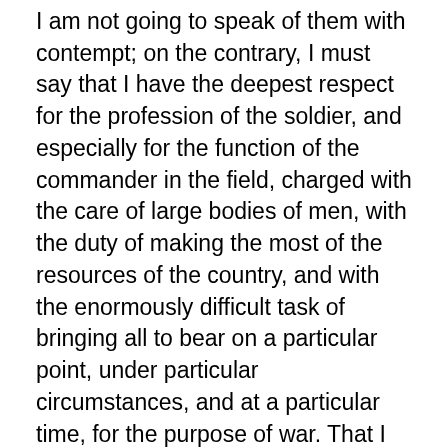I am not going to speak of them with contempt; on the contrary, I must say that I have the deepest respect for the profession of the soldier, and especially for the function of the commander in the field, charged with the care of large bodies of men, with the duty of making the most of the resources of the country, and with the enormously difficult task of bringing all to bear on a particular point, under particular circumstances, and at a particular time, for the purpose of war. That I deem to be one of the highest and most extraordinary trials to which the human mind can be subjected, and I do not know any other position in which the demand for energy and the exercise of every great quality of human force is so tremendous and overwhelming. Therefore in the opinion of Lord Wolseley, whom I believe to be a man extremely valuable to his country in the great and possible sontingency of military danger and military effort, I have the profoundest respect,